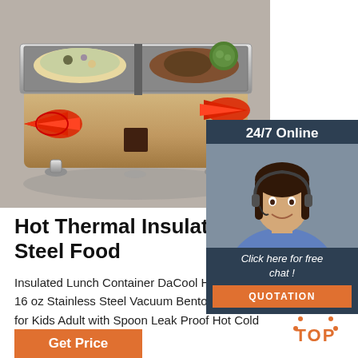[Figure (photo): Stainless steel chafing dish / food warmer with three compartments containing various foods, with red arrows on left and right sides, on a gray background]
[Figure (photo): 24/7 Online chat widget with a smiling female customer service agent wearing a headset, dark navy background, with 'Click here for free chat!' text and orange QUOTATION button]
Hot Thermal Insulated Bento S... Steel Food
Insulated Lunch Container DaCool Ho... 16 oz Stainless Steel Vacuum Bento Lunch Box for Kids Adult with Spoon Leak Proof Hot Cold Food ...
Get Price
[Figure (other): TOP badge with orange dotted arc and bold orange TOP text]